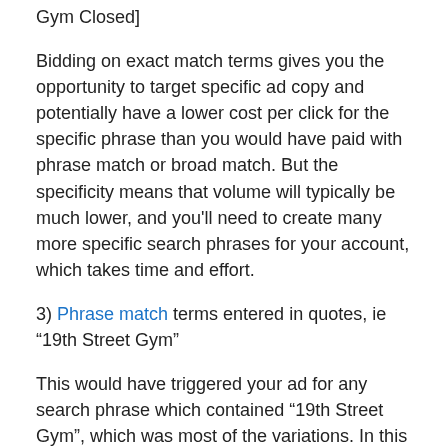Gym Closed]
Bidding on exact match terms gives you the opportunity to target specific ad copy and potentially have a lower cost per click for the specific phrase than you would have paid with phrase match or broad match. But the specificity means that volume will typically be much lower, and you'll need to create many more specific search phrases for your account, which takes time and effort.
3) Phrase match terms entered in quotes, ie “19th Street Gym”
This would have triggered your ad for any search phrase which contained “19th Street Gym”, which was most of the variations. In this example it doesn’t provide a lot of benefit vs. broad match, but in general, phrase matching is a good compromise between the low targeting of broad